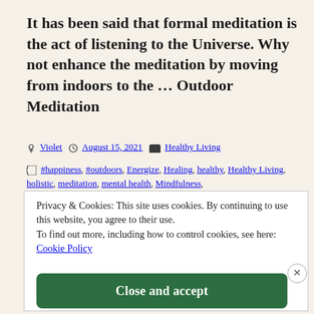It has been said that formal meditation is the act of listening to the Universe. Why not enhance the meditation by moving from indoors to the … Outdoor Meditation
Violet  August 15, 2021  Healthy Living
#happiness, #outdoors, Energize, Healing, healthy, Healthy Living, holistic, meditation, mental health, Mindfulness, Motivational, natural, NaturalLiving, nature, Self Care, stress
Privacy & Cookies: This site uses cookies. By continuing to use this website, you agree to their use.
To find out more, including how to control cookies, see here:
Cookie Policy
Close and accept